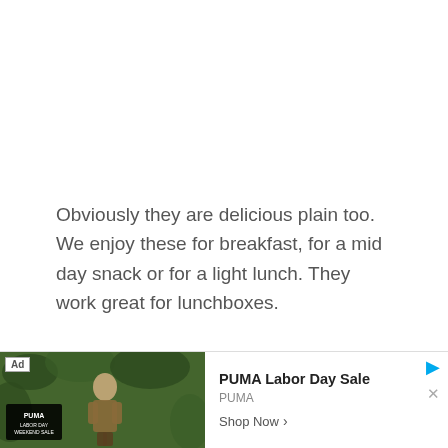Obviously they are delicious plain too. We enjoy these for breakfast, for a mid day snack or for a light lunch. They work great for lunchboxes.
Storing leftover Mediterranean muffins:
Muffins will last tightly covered in the fridge for 2-3 days. I like to microwave them briefly before eating.
[Figure (other): PUMA Labor Day Sale advertisement banner with jungle/outdoor background image showing a person, PUMA logo, 'LABOR DAY WEEKEND SALE' text, and 'Shop Now' button]